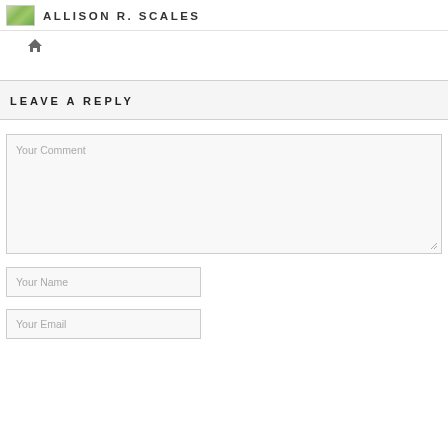ALLISON R. SCALES
[Figure (illustration): Small thumbnail image placeholder with green landscape photo]
[Figure (illustration): Home icon (house symbol)]
LEAVE A REPLY
Your Comment
Your Name
Your Email